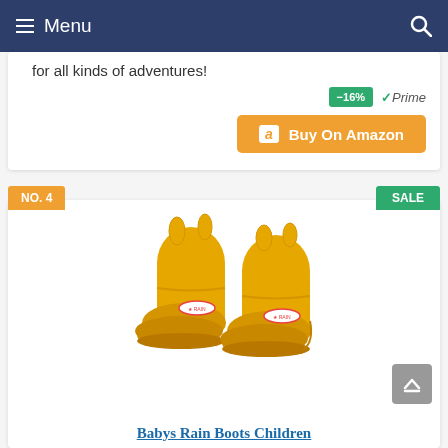Menu
for all kinds of adventures!
−16% ✓Prime
Buy On Amazon
NO. 4
SALE
[Figure (photo): Yellow children's rain boots pair on white background]
Babys Rain Boots Children